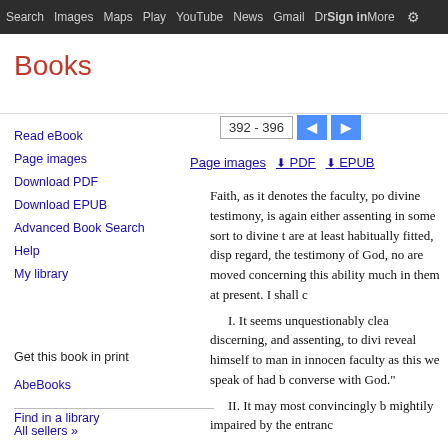Search  Images  Maps  Play  YouTube  News  Gmail  Drive  More  Sign in  Settings
Books
Read eBook
Page images
Download PDF
Download EPUB
Advanced Book Search
Help
My library
Get this book in print
AbeBooks
Find in a library
All sellers »
392 - 396
Page images  PDF  EPUB
Faith, as it denotes the faculty, po divine testimony, is again either assenting in some sort to divine t are at least habitually fitted, disp regard, the testimony of God, no are moved concerning this ability much in them at present. I shall c

    I. It seems unquestionably clea discerning, and assenting, to divi reveal himself to man in innocen faculty as this we speak of had b converse with God."

    II. It may most convincingly b mightily impaired by the entranc